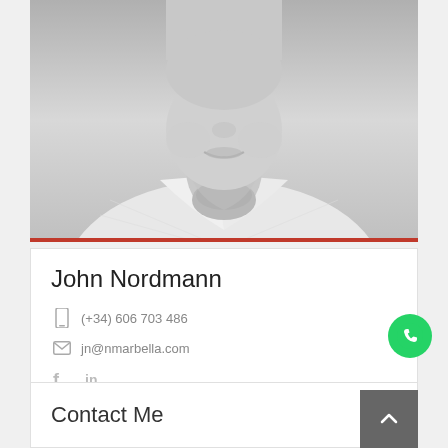[Figure (photo): Black and white close-up portrait photo of a man in a light checkered shirt, cropped from forehead to chest]
John Nordmann
(+34) 606 703 486
jn@nmarbella.com
[Figure (logo): Facebook and LinkedIn social media icons]
[Figure (logo): WhatsApp green circular button icon]
Contact Me